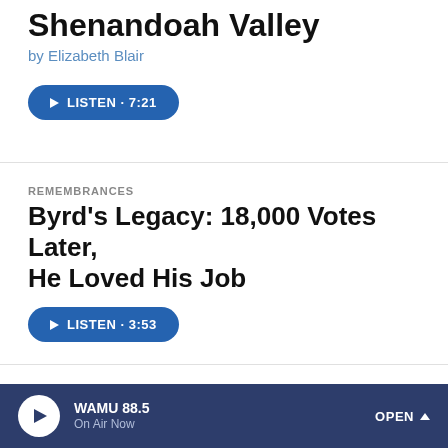Shenandoah Valley
by Elizabeth Blair
[Figure (other): Blue pill-shaped button: play icon followed by LISTEN · 7:21]
REMEMBRANCES
Byrd's Legacy: 18,000 Votes Later, He Loved His Job
[Figure (other): Blue pill-shaped button: play icon followed by LISTEN · 3:53]
LAW
Supreme Court Rules On Gun Ownership
[Figure (other): Dark blue player bar at bottom: play button circle, WAMU 88.5, On Air Now, OPEN with caret]